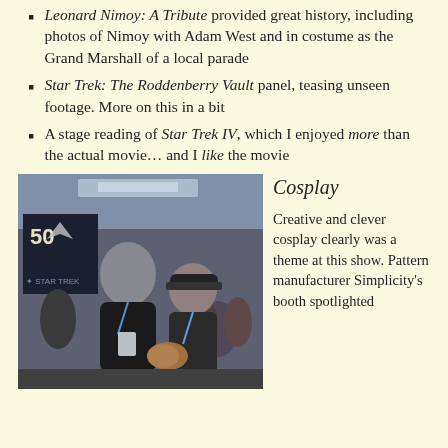Leonard Nimoy: A Tribute provided great history, including photos of Nimoy with Adam West and in costume as the Grand Marshall of a local parade
Star Trek: The Roddenberry Vault panel, teasing unseen footage. More on this in a bit
A stage reading of Star Trek IV, which I enjoyed more than the actual movie… and I like the movie
[Figure (photo): Two men at a Star Trek convention (Star Trek 50th anniversary), one in a black jacket leaning over, one in a dark jacket and cap, with convention crowd in background and a Star Trek 50 banner visible]
Cosplay
Creative and clever cosplay clearly was a theme at this show. Pattern manufacturer Simplicity's booth spotlighted